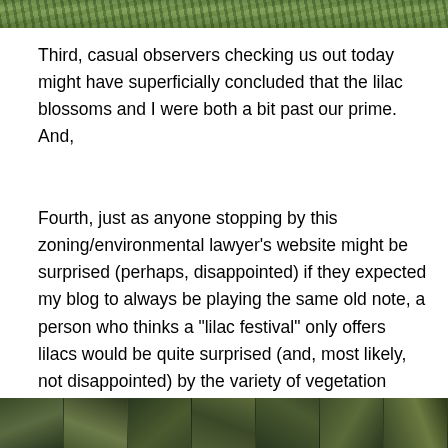[Figure (photo): Top portion of an outdoor nature/garden photo, cropped to show foliage and greenery at the very top of the page.]
Third, casual observers checking us out today might have superficially concluded that the lilac blossoms and I were both a bit past our prime.  And,
Fourth, just as anyone stopping by this zoning/environmental lawyer’s website might be surprised (perhaps, disappointed) if they expected my blog to always be playing the same old note, a person who thinks a “lilac festival” only offers lilacs would be quite surprised (and, most likely, not disappointed) by the variety of vegetation one’s senses have the opportunity to explore at this annual event.
Here’s proof:
[Figure (photo): Bottom portion of an outdoor photo showing trees and dense vegetation, appearing as a strip at the very bottom of the page.]